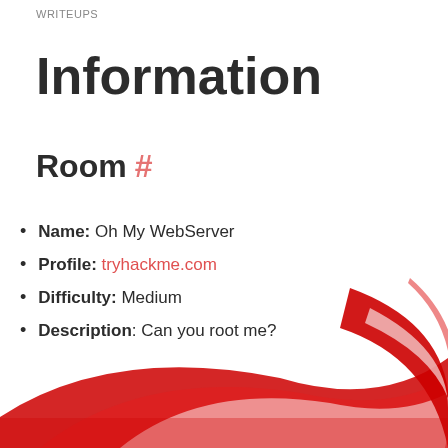WRITEUPS
Information
Room #
Name: Oh My WebServer
Profile: tryhackme.com
Difficulty: Medium
Description: Can you root me?
[Figure (illustration): Red and white circular swoosh/spiral decoration at the bottom of the page]